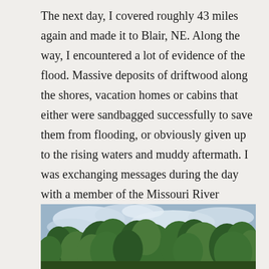The next day, I covered roughly 43 miles again and made it to Blair, NE. Along the way, I encountered a lot of evidence of the flood. Massive deposits of driftwood along the shores, vacation homes or cabins that either were sandbagged successfully to save them from flooding, or obviously given up to the rising waters and muddy aftermath. I was exchanging messages during the day with a member of the Missouri River Paddlers group who had their cabin flooded along the river on this stretch. When I encountered the string of cabins and campers she indicated, I saw some pretty devastated sites:
[Figure (photo): Outdoor photo showing trees with green foliage against a cloudy sky, partially cropped at the bottom of the page.]